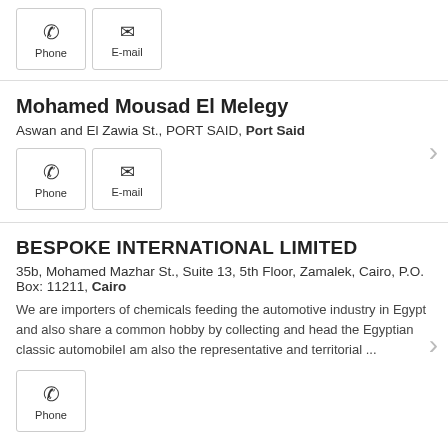Phone | E-mail (top buttons)
Mohamed Mousad El Melegy
Aswan and El Zawia St., PORT SAID, Port Said
Phone | E-mail
BESPOKE INTERNATIONAL LIMITED
35b, Mohamed Mazhar St., Suite 13, 5th Floor, Zamalek, Cairo, P.O. Box: 11211, Cairo
We are importers of chemicals feeding the automotive industry in Egypt and also share a common hobby by collecting and head the Egyptian classic automobileI am also the representative and territorial ...
Phone